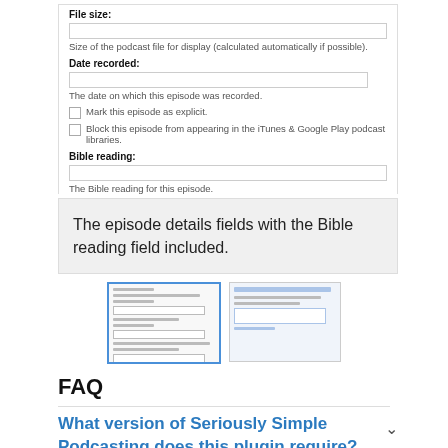File size:
Size of the podcast file for display (calculated automatically if possible).
Date recorded:
The date on which this episode was recorded.
Mark this episode as explicit.
Block this episode from appearing in the iTunes & Google Play podcast libraries.
Bible reading:
The Bible reading for this episode.
The episode details fields with the Bible reading field included.
[Figure (screenshot): Two thumbnail screenshots of a form interface]
FAQ
What version of Seriously Simple Podcasting does this plugin require?